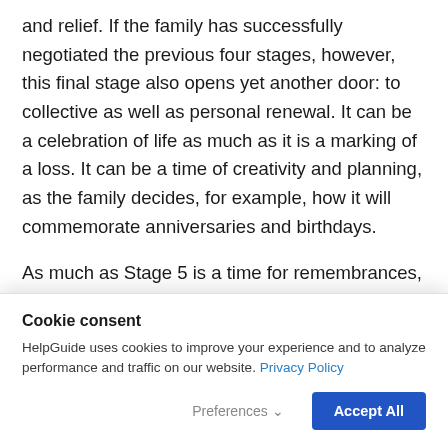and relief. If the family has successfully negotiated the previous four stages, however, this final stage also opens yet another door: to collective as well as personal renewal. It can be a celebration of life as much as it is a marking of a loss. It can be a time of creativity and planning, as the family decides, for example, how it will commemorate anniversaries and birthdays.
As much as Stage 5 is a time for remembrances, it is also a time for looking forward, to revitalized relationships and new family traditions...
Cookie consent
HelpGuide uses cookies to improve your experience and to analyze performance and traffic on our website. Privacy Policy